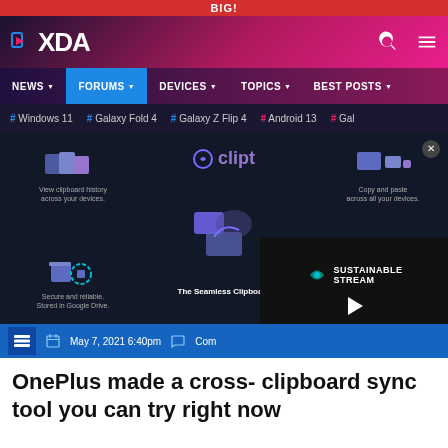BIG!
[Figure (screenshot): XDA Developers website header with logo, search and menu icons]
NEWS  FORUMS  DEVICES  TOPICS  BEST POSTS
# Windows 11  # Galaxy Fold 4  # Galaxy Z Flip 4  # Android 13  # Gal
[Figure (screenshot): Clipt app advertisement banner showing clipboard sync features: View clipboard history across your devices, Copy and paste across all your devices, Secure and reliable. Stored in Google Drive, Simple to use. Increase your productivity. The Seamless Clipboard.]
May 7, 2021 6:40pm   Com
OnePlus made a cross- clipboard sync tool you can try right now